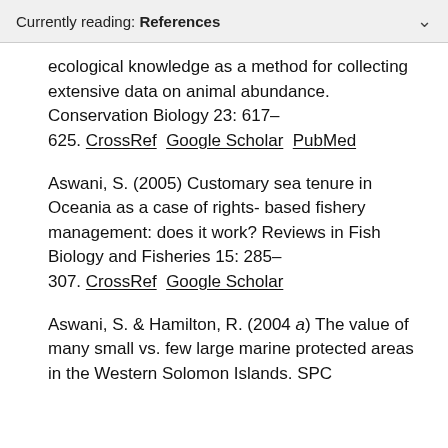Currently reading: References
ecological knowledge as a method for collecting extensive data on animal abundance. Conservation Biology 23: 617–625. CrossRef  Google Scholar  PubMed
Aswani, S. (2005) Customary sea tenure in Oceania as a case of rights-based fishery management: does it work? Reviews in Fish Biology and Fisheries 15: 285–307. CrossRef  Google Scholar
Aswani, S. & Hamilton, R. (2004 a) The value of many small vs. few large marine protected areas in the Western Solomon Islands. SPC